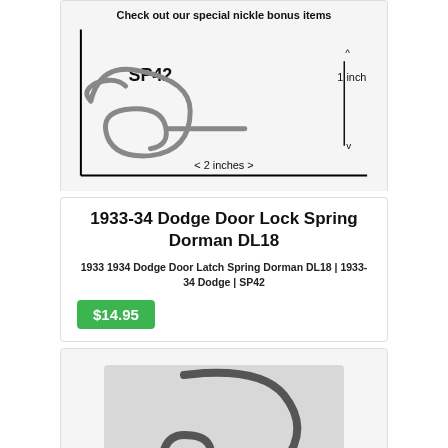[Figure (photo): Photo of a coiled door lock spring labeled SP42, shown against a white background with measurement indicators: 1 inch height and 2 inches width. Text above reads 'Check out our special nickle bonus items'.]
1933-34 Dodge Door Lock Spring Dorman DL18
1933 1934 Dodge Door Latch Spring Dorman DL18 | 1933-34 Dodge | SP42
$14.95
[Figure (photo): Partial photo of a door lock spring part labeled 3783, shown on a light grey background, partially visible at the bottom of the page.]